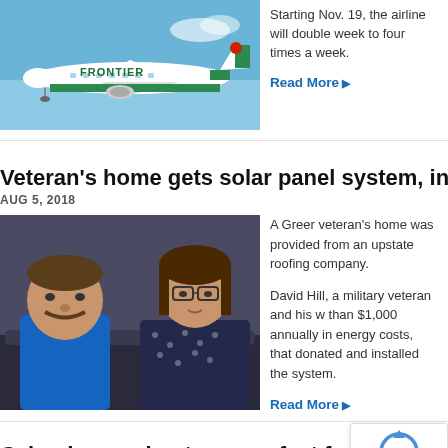[Figure (photo): Frontier Airlines plane in flight against blue sky]
Starting Nov. 19, the airline will double week to four times a week.
Read More
Veteran's home gets solar panel system, inst
AUG 5, 2018
[Figure (photo): A man in blue shirt and a woman with glasses sitting on a couch]
A Greer veteran's home was provided from an upstate roofing company.
David Hill, a military veteran and his w than $1,000 annually in energy costs, that donated and installed the system.
Read More
Calendar coming to a new fast food ba
AUG 5, 2018